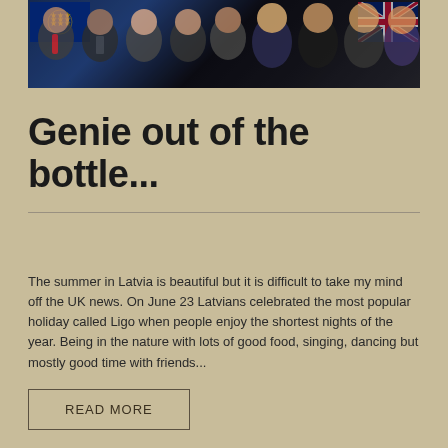[Figure (photo): Group photo of several political figures standing together, with EU and UK flags visible in the background]
Genie out of the bottle...
The summer in Latvia is beautiful but it is difficult to take my mind off the UK news. On June 23 Latvians celebrated the most popular holiday called Ligo when people enjoy the shortest nights of the year. Being in the nature with lots of good food, singing, dancing but mostly good time with friends...
READ MORE